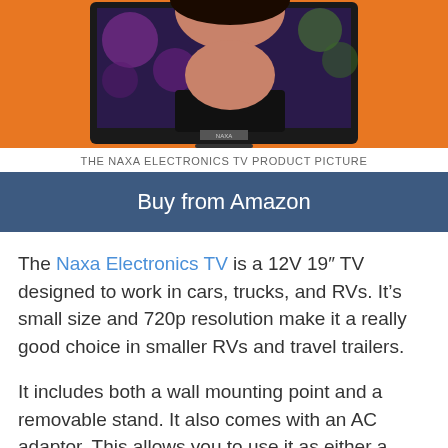[Figure (photo): The Naxa Electronics TV product photo showing a flatscreen TV on an orange background with a woman visible on the screen.]
THE NAXA ELECTRONICS TV PRODUCT PICTURE
Buy from Amazon
The Naxa Electronics TV is a 12V 19″ TV designed to work in cars, trucks, and RVs. It’s small size and 720p resolution make it a really good choice in smaller RVs and travel trailers.
It includes both a wall mounting point and a removable stand. It also comes with an AC adaptor. This allows you to use it as either a permanent addition to your RV setup or